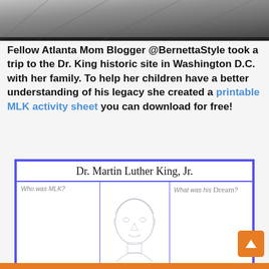[Figure (photo): Black and white photo (top portion cropped), appears to show a floor or ground surface]
Fellow Atlanta Mom Blogger @BernettaStyle took a trip to the Dr. King historic site in Washington D.C. with her family. To help her children have a better understanding of his legacy she created a printable MLK activity sheet you can download for free!
[Figure (illustration): MLK activity sheet worksheet with title 'Dr. Martin Luther King, Jr.' containing sections: 'Who was MLK?', 'What was his Dream?', a central illustration of MLK's face, and bottom row with 'What is YOUR Dream?', 'What is the Dream for your family?', 'What is the Dream for your community?']